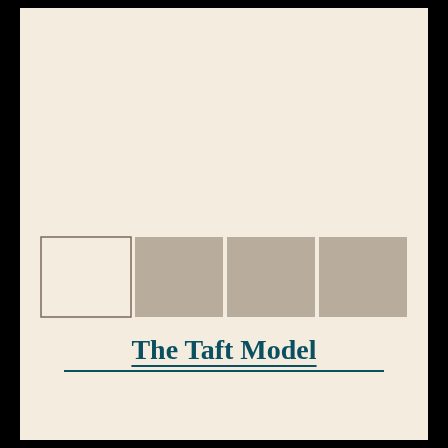[Figure (other): Four squares in a row: the first is an outlined empty square, followed by three taupe/gray filled squares, arranged horizontally as a decorative design element]
The Taft Model